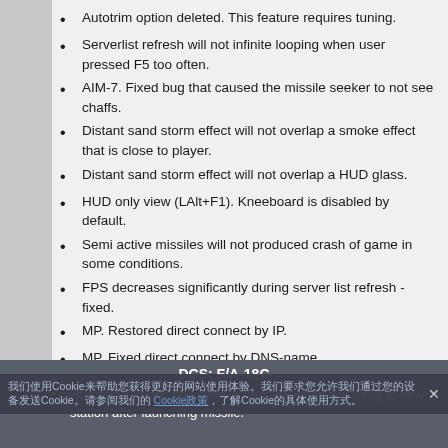Autotrim option deleted. This feature requires tuning.
Serverlist refresh will not infinite looping when user pressed F5 too often.
AIM-7. Fixed bug that caused the missile seeker to not see chaffs.
Distant sand storm effect will not overlap a smoke effect that is close to player.
Distant sand storm effect will not overlap a HUD glass.
HUD only view (LAlt+F1). Kneeboard is disabled by default.
Semi active missiles will not produced crash of game in some conditions.
FPS decreases significantly during server list refresh - fixed.
MP. Restored direct connect by IP.
MP. Fixed direct connect by DNS-name.
Error window appears on request picture calls to AWACS (F5) - fixed
DCS: F/A-18C
Harpoon Options now refresh properly when switching to new station after launching missile.
我们使用Cookie来帮助您获得更好的网站使用体验。Cookie政策